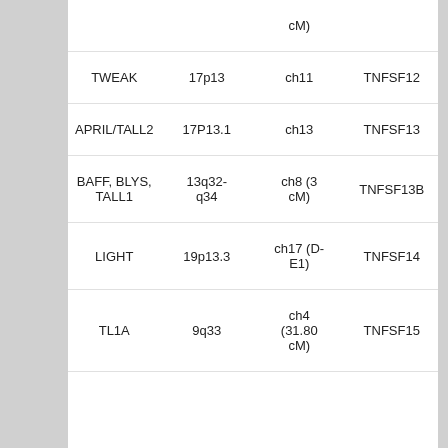|  |  | cM) |  |
| TWEAK | 17p13 | ch11 | TNFSF12 |
| APRIL/TALL2 | 17P13.1 | ch13 | TNFSF13 |
| BAFF, BLYS,
TALL1 | 13q32-q34 | ch8 (3 cM) | TNFSF13B |
| LIGHT | 19p13.3 | ch17 (D-E1) | TNFSF14 |
| TL1A | 9q33 | ch4 (31.80 cM) | TNFSF15 |